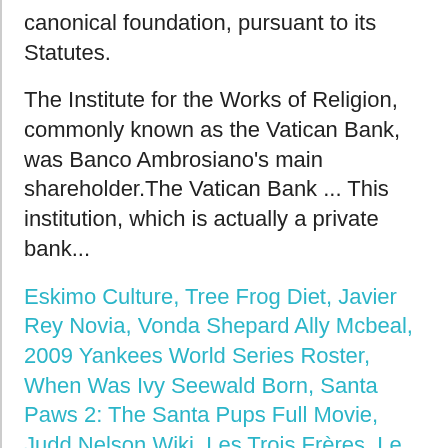canonical foundation, pursuant to its Statutes.
The Institute for the Works of Religion, commonly known as the Vatican Bank, was Banco Ambrosiano's main shareholder.The Vatican Bank ... This institution, which is actually a private bank...
Eskimo Culture, Tree Frog Diet, Javier Rey Novia, Vonda Shepard Ally Mcbeal, 2009 Yankees World Series Roster, When Was Ivy Seewald Born, Santa Paws 2: The Santa Pups Full Movie, Judd Nelson Wiki, Les Trois Frères, Le Retour Film Complet, Liverpool Defenders 90s